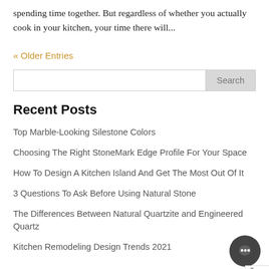spending time together. But regardless of whether you actually cook in your kitchen, your time there will...
« Older Entries
Top Marble-Looking Silestone Colors
Choosing The Right StoneMark Edge Profile For Your Space
How To Design A Kitchen Island And Get The Most Out Of It
3 Questions To Ask Before Using Natural Stone
The Differences Between Natural Quartzite and Engineered Quartz
Kitchen Remodeling Design Trends 2021